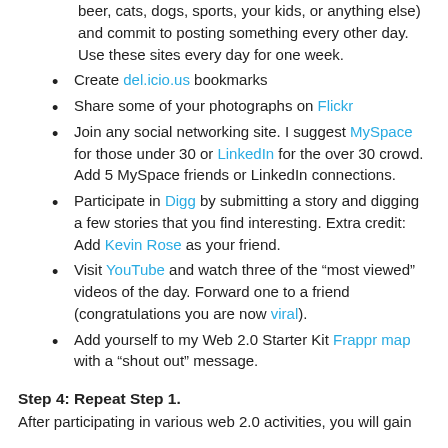beer, cats, dogs, sports, your kids, or anything else) and commit to posting something every other day. Use these sites every day for one week.
Create del.icio.us bookmarks
Share some of your photographs on Flickr
Join any social networking site. I suggest MySpace for those under 30 or LinkedIn for the over 30 crowd. Add 5 MySpace friends or LinkedIn connections.
Participate in Digg by submitting a story and digging a few stories that you find interesting. Extra credit: Add Kevin Rose as your friend.
Visit YouTube and watch three of the “most viewed” videos of the day. Forward one to a friend (congratulations you are now viral).
Add yourself to my Web 2.0 Starter Kit Frappr map with a “shout out” message.
Step 4: Repeat Step 1.
After participating in various web 2.0 activities, you will gain